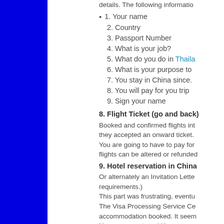details. The following informatio
1. Your name
2. Country
3. Passport Number
4. What is your job?
5. What do you do in Thaila
6. What is your purpose to
7. You stay in China since.
8. You will pay for you trip
9. Sign your name
8. Flight Ticket (go and back)
Booked and confirmed flights int they accepted an onward ticket. You are going to have to pay for flights can be altered or refunded
9. Hotel reservation in China
Or alternately an Invitation Lette requirements.) This part was frustrating, eventu The Visa Processing Service Ce accommodation booked. It seem However your travel itinerary, pa the places you visit. I wanted to sit well.